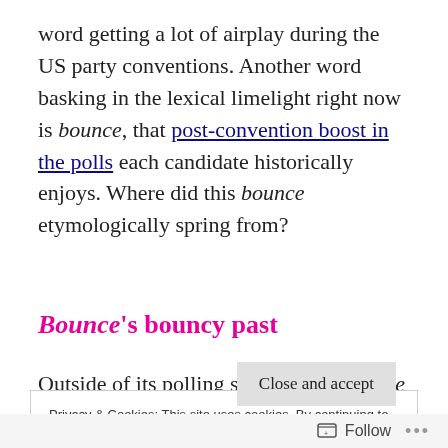word getting a lot of airplay during the US party conventions. Another word basking in the lexical limelight right now is bounce, that post-convention boost in the polls each candidate historically enjoys. Where did this bounce etymologically spring from?
Bounce's bouncy past
Outside of its polling sense today, bounce
Privacy & Cookies: This site uses cookies. By continuing to use this website, you agree to their use.
To find out more, including how to control cookies, see here:
Cookie Policy
Close and accept